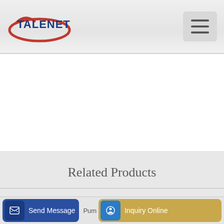[Figure (logo): Talenet company logo with red oval and blue text]
Related Products
batching plant foundation design
weighing concrete batching plant
Send Message | Pum... | Inquiry Online